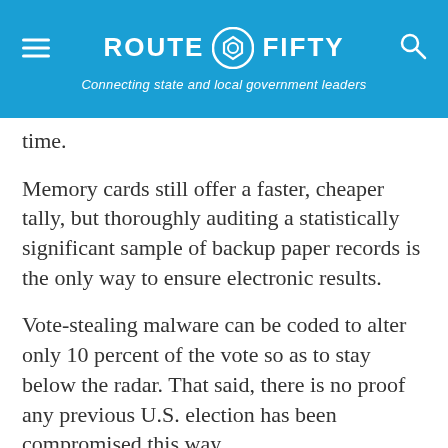ROUTE FIFTY — Connecting state and local government leaders
time.
Memory cards still offer a faster, cheaper tally, but thoroughly auditing a statistically significant sample of backup paper records is the only way to ensure electronic results.
Vote-stealing malware can be coded to alter only 10 percent of the vote so as to stay below the radar. That said, there is no proof any previous U.S. election has been compromised this way.
“Last election wasn’t hacked,” said retired Army Lt. Col. Tony Shaffer, a senior fellow at the